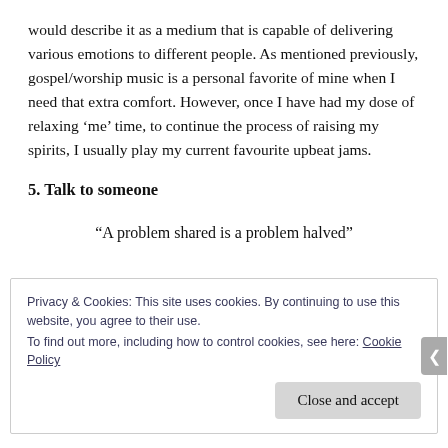would describe it as a medium that is capable of delivering various emotions to different people. As mentioned previously, gospel/worship music is a personal favorite of mine when I need that extra comfort. However, once I have had my dose of relaxing ‘me’ time, to continue the process of raising my spirits, I usually play my current favourite upbeat jams.
5. Talk to someone
“A problem shared is a problem halved”
Privacy & Cookies: This site uses cookies. By continuing to use this website, you agree to their use.
To find out more, including how to control cookies, see here: Cookie Policy